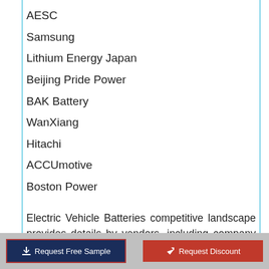AESC
Samsung
Lithium Energy Japan
Beijing Pride Power
BAK Battery
WanXiang
Hitachi
ACCUmotive
Boston Power
Electric Vehicle Batteries competitive landscape provides details by vendors, including company overview, company total revenue (financial), market potential, global presence, Electric Vehicle Batteries sales and revenue generated, market share, price, production sites
Request Free Sample   Request Discount